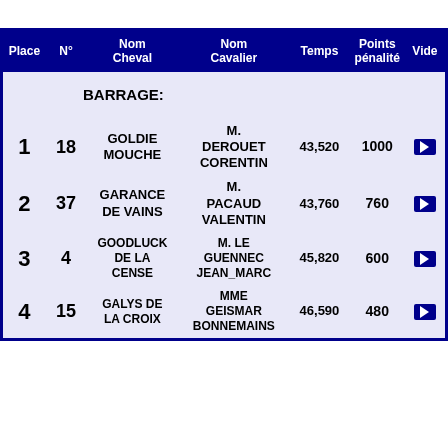| Place | N° | Nom Cheval | Nom Cavalier | Temps | Points pénalité | Video |
| --- | --- | --- | --- | --- | --- | --- |
| BARRAGE: |  |  |  |  |  |  |
| 1 | 18 | GOLDIE MOUCHE | M. DEROUET CORENTIN | 43,520 | 1000 | ▶ |
| 2 | 37 | GARANCE DE VAINS | M. PACAUD VALENTIN | 43,760 | 760 | ▶ |
| 3 | 4 | GOODLUCK DE LA CENSE | M. LE GUENNEC JEAN_MARC | 45,820 | 600 | ▶ |
| 4 | 15 | GALYS DE LA CROIX | MME GEISMAR BONNEMAINS | 46,590 | 480 | ▶ |